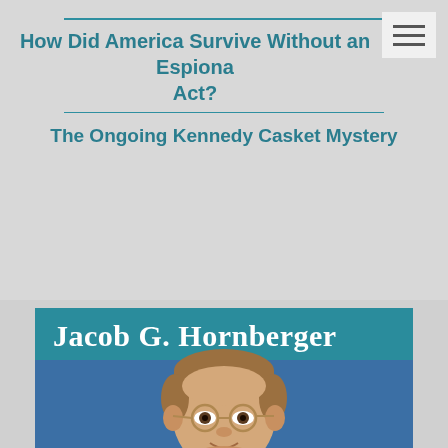How Did America Survive Without an Espionage Act?
The Ongoing Kennedy Casket Mystery
[Figure (photo): Portrait photo of Jacob G. Hornberger, a man with short brown hair and round glasses, against a blue background, with a teal header banner showing his name in white bold serif text.]